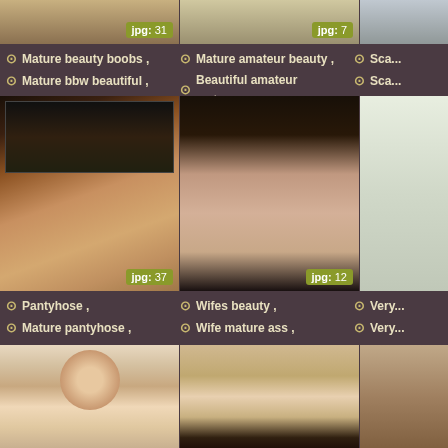[Figure (photo): Top row partial images with jpg badges: jpg 31, jpg 7]
Mature beauty boobs ,
Mature bbw beautiful ,
Mature amateur beauty ,
Beautiful amateur matures ,
Sca...
Sca...
[Figure (photo): Woman in pantyhose lying by fireplace, jpg: 37]
[Figure (photo): Close-up in leopard print bodysuit, jpg: 12]
[Figure (photo): Partial right column image]
Pantyhose ,
Mature pantyhose ,
Wifes beauty ,
Wife mature ass ,
Very...
Very...
[Figure (photo): Bottom row: redhead woman posing, two images visible]